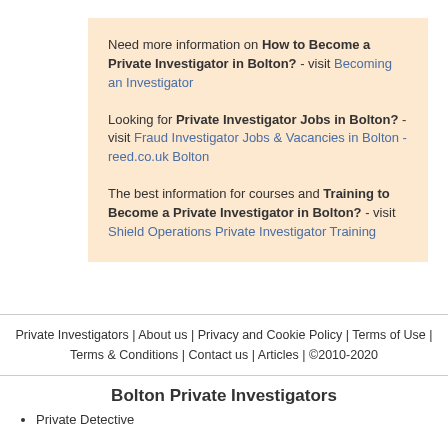Need more information on How to Become a Private Investigator in Bolton? - visit Becoming an Investigator
Looking for Private Investigator Jobs in Bolton? - visit Fraud Investigator Jobs & Vacancies in Bolton - reed.co.uk Bolton
The best information for courses and Training to Become a Private Investigator in Bolton? - visit Shield Operations Private Investigator Training
Private Investigators | About us | Privacy and Cookie Policy | Terms of Use | Terms & Conditions | Contact us | Articles | ©2010-2020
Bolton Private Investigators
Private Detective